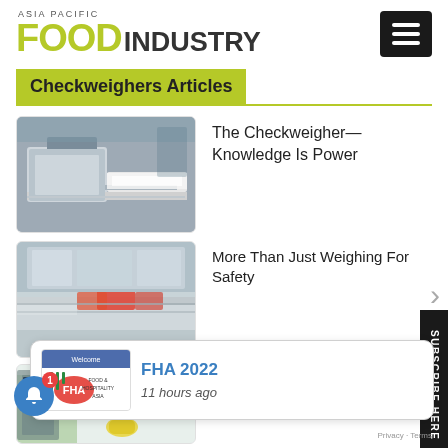ASIA PACIFIC FOOD INDUSTRY
Checkweighers Articles
[Figure (photo): Industrial checkweigher machine on a conveyor belt in a food processing facility]
The Checkweigher— Knowledge Is Power
[Figure (photo): Automated food packaging line with weighing equipment and conveyor belt]
More Than Just Weighing For Safety
[Figure (photo): Supermarket or food retail shelf area partially visible]
[Figure (photo): FHA 2022 notification popup with FHA logo and welcome banner]
FHA 2022
11 hours ago